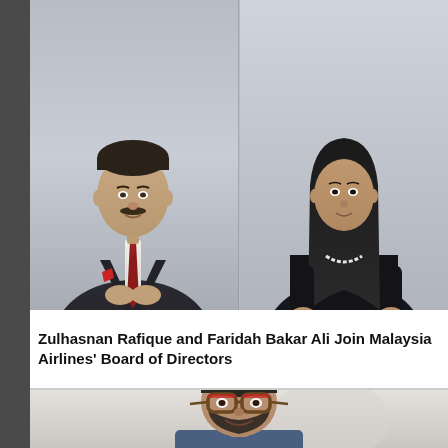[Figure (photo): Two professional headshots side by side: left shows a man in a dark suit with red tie (Zulhasnan Rafique), right shows a woman in a black top with pearl necklace (Faridah Bakar Ali). Both on gray backgrounds.]
Zulhasnan Rafique and Faridah Bakar Ali Join Malaysia Airlines' Board of Directors
[Figure (photo): Partial headshot of a man with beard, wearing red-framed glasses and a blue shirt, smiling, on a light blurred background.]